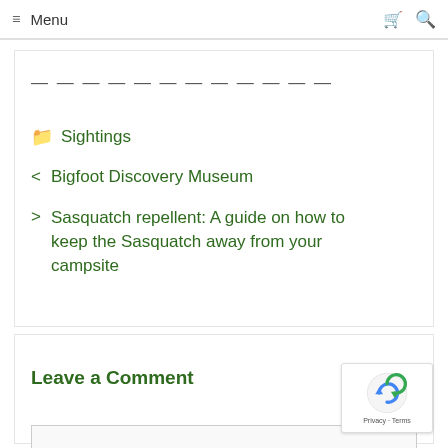≡ Menu
————————————
📁 Sightings
< Bigfoot Discovery Museum
> Sasquatch repellent: A guide on how to keep the Sasquatch away from your campsite
Leave a Comment